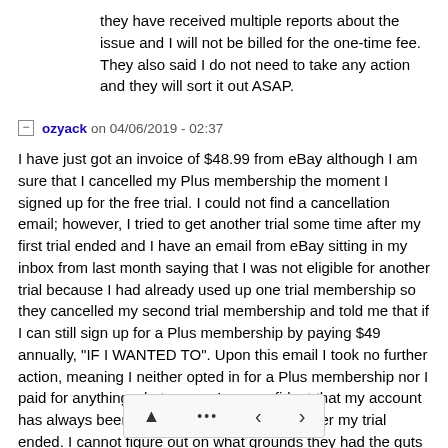they have received multiple reports about the issue and I will not be billed for the one-time fee. They also said I do not need to take any action and they will sort it out ASAP.
ozyack on 04/06/2019 - 02:37
I have just got an invoice of $48.99 from eBay although I am sure that I cancelled my Plus membership the moment I signed up for the free trial. I could not find a cancellation email; however, I tried to get another trial some time after my first trial ended and I have an email from eBay sitting in my inbox from last month saying that I was not eligible for another trial because I had already used up one trial membership so they cancelled my second trial membership and told me that if I can still sign up for a Plus membership by paying $49 annually, "IF I WANTED TO". Upon this email I took no further action, meaning I neither opted in for a Plus membership nor I paid for anything whatsoever, I am confident that my account has always been on a "basic" membership after my trial ended. I cannot figure out on what grounds they had the guts to send me an invoice. It's ridiculous! I have emailed them back asking for the invoice to be voided. Will keep you updated.